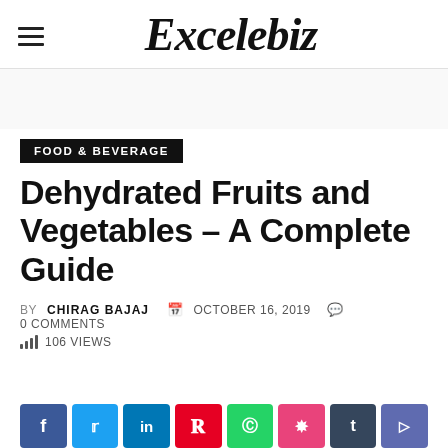Excelebiz
FOOD & BEVERAGE
Dehydrated Fruits and Vegetables – A Complete Guide
BY CHIRAG BAJAJ  OCTOBER 16, 2019  0 COMMENTS  106 VIEWS